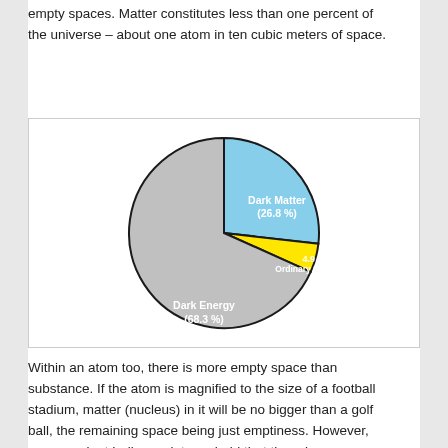empty spaces. Matter constitutes less than one percent of the universe – about one atom in ten cubic meters of space.
[Figure (pie-chart): ]
Within an atom too, there is more empty space than substance.  If the atom is magnified to the size of a football stadium, matter (nucleus) in it will be no bigger than a golf ball, the remaining space being just emptiness.  However, many ancient Indian scriptures hold that there is energy aplenty in space.  Physicists unhesitatingly agree.  Evidence for energy in empty space comes both from Cosmology that deals with the